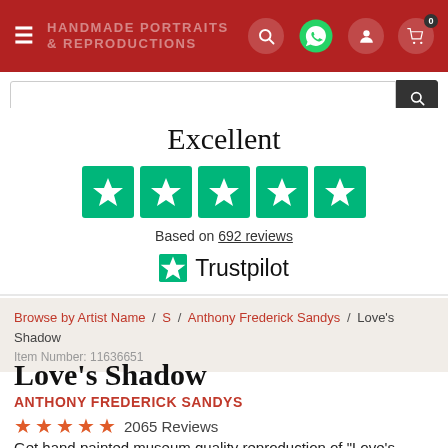Handmade Portraits & Reproductions — navigation header with search
[Figure (infographic): Trustpilot rating section: Excellent, 5 green stars, Based on 692 reviews, Trustpilot logo]
Browse by Artist Name / S / Anthony Frederick Sandys / Love's Shadow
Item Number: 11636651
Love's Shadow
ANTHONY FREDERICK SANDYS
★★★★★ 2065 Reviews
Get hand painted museum quality reproduction of "Love's Shadow" by Anthony Frederick Sandys. The Reproduction will be